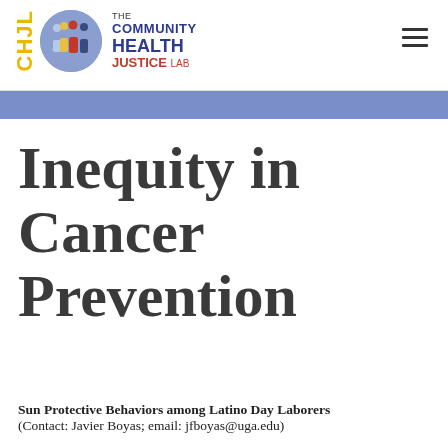[Figure (logo): Community Health Justice Lab logo with CHJL vertical text in yellow, a circular emblem with silhouetted figures in blue and red, and the organization name in blue and red text]
Inequity in Cancer Prevention
Sun Protective Behaviors among Latino Day Laborers
(Contact: Javier Boyas; email: jfboyas@uga.edu)